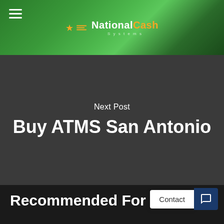[Figure (screenshot): Website header banner with green background showing National Cash Systems logo with hamburger menu icon on left, star and horizontal lines decoration, white and orange logo text]
Next Post
Buy ATMS San Antonio
Recommended For You
Contact